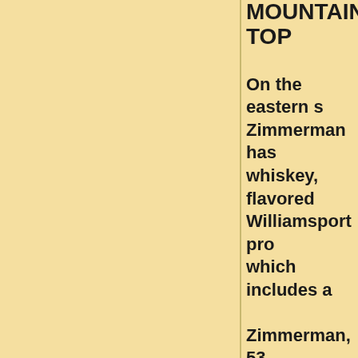MOUNTAIN TOP
On the eastern s... Zimmerman has ... whiskey, flavored... Williamsport pro... which includes a...
Zimmerman, 53, ... making hobby im...
"I've been makin...
Bastress Mounta... sales in 2014. Th... spirits. Mountain...